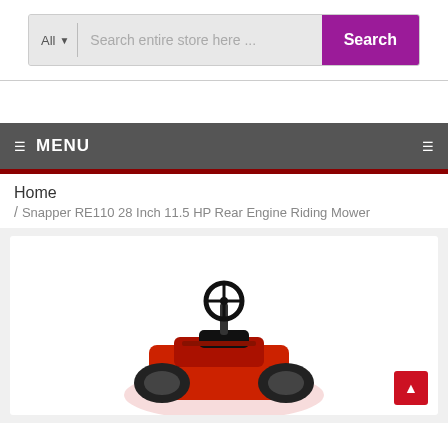[Figure (screenshot): Search bar with 'All' dropdown, search input placeholder 'Search entire store here ...', and a purple 'Search' button]
MENU
Home / Snapper RE110 28 Inch 11.5 HP Rear Engine Riding Mower
[Figure (photo): Partial image of a red Snapper RE110 riding mower showing steering wheel and front body]